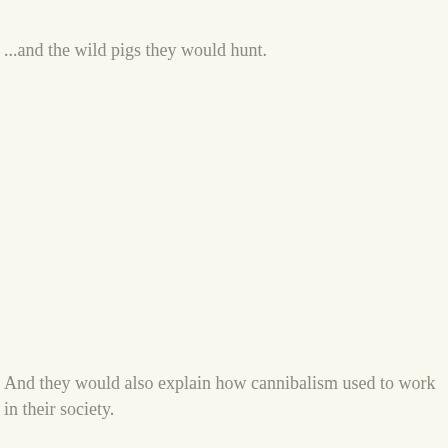...and the wild pigs they would hunt.
And they would also explain how cannibalism used to work in their society.